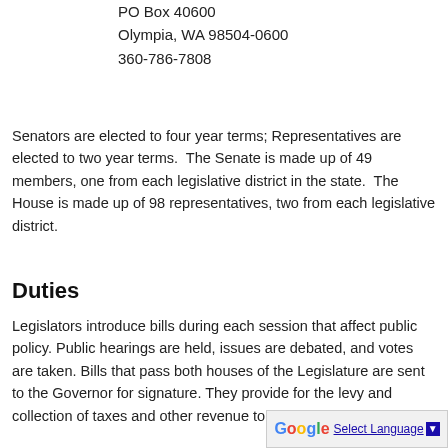PO Box 40600
Olympia, WA 98504-0600
360-786-7808
Senators are elected to four year terms; Representatives are elected to two year terms.  The Senate is made up of 49 members, one from each legislative district in the state.  The House is made up of 98 representatives, two from each legislative district.
Duties
Legislators introduce bills during each session that affect public policy. Public hearings are held, issues are debated, and votes are taken. Bills that pass both houses of the Legislature are sent to the Governor for signature. They provide for the levy and collection of taxes and other revenue to support